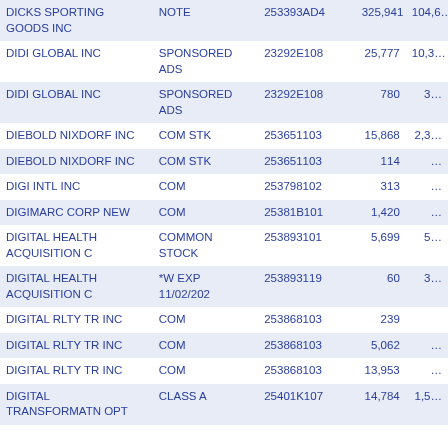| Name | Type | CUSIP | Shares | Value |
| --- | --- | --- | --- | --- |
| DICKS SPORTING GOODS INC | NOTE | 253393AD4 | 325,941 | 104,6… |
| DIDI GLOBAL INC | SPONSORED ADS | 23292E108 | 25,777 | 10,3… |
| DIDI GLOBAL INC | SPONSORED ADS | 23292E108 | 780 | 3… |
| DIEBOLD NIXDORF INC | COM STK | 253651103 | 15,868 | 2,3… |
| DIEBOLD NIXDORF INC | COM STK | 253651103 | 114 | … |
| DIGI INTL INC | COM | 253798102 | 313 | … |
| DIGIMARC CORP NEW | COM | 25381B101 | 1,420 | … |
| DIGITAL HEALTH ACQUISITION C | COMMON STOCK | 253893101 | 5,699 | 5… |
| DIGITAL HEALTH ACQUISITION C | *W EXP 11/02/202 | 253893119 | 60 | 3… |
| DIGITAL RLTY TR INC | COM | 253868103 | 239 |  |
| DIGITAL RLTY TR INC | COM | 253868103 | 5,062 | … |
| DIGITAL RLTY TR INC | COM | 253868103 | 13,953 | … |
| DIGITAL TRANSFORMATN OPT | CLASS A | 25401K107 | 14,784 | 1,5… |